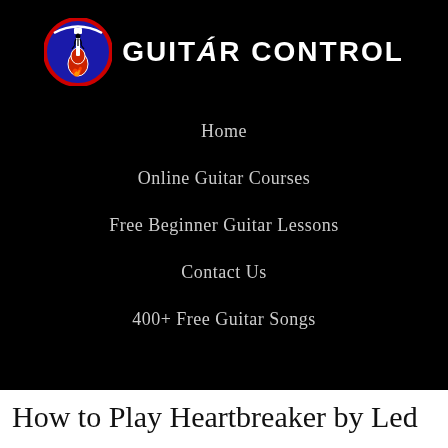[Figure (logo): Guitar Control logo: circular emblem with guitar and flame, next to bold text 'GUITAR CONTROL']
Home
Online Guitar Courses
Free Beginner Guitar Lessons
Contact Us
400+ Free Guitar Songs
How to Play Heartbreaker by Led